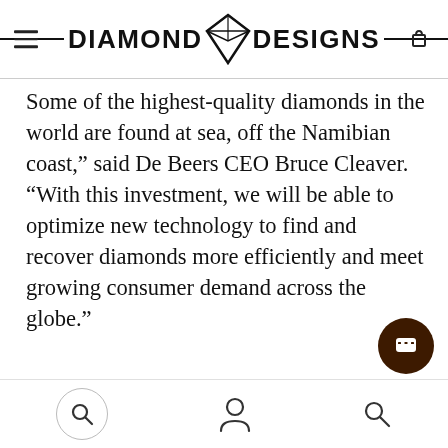DIAMOND DESIGNS
Some of the highest-quality diamonds in the world are found at sea, off the Namibian coast,” said De Beers CEO Bruce Cleaver. “With this investment, we will be able to optimize new technology to find and recover diamonds more efficiently and meet growing consumer demand across the globe.”
Search, Account, Search icons